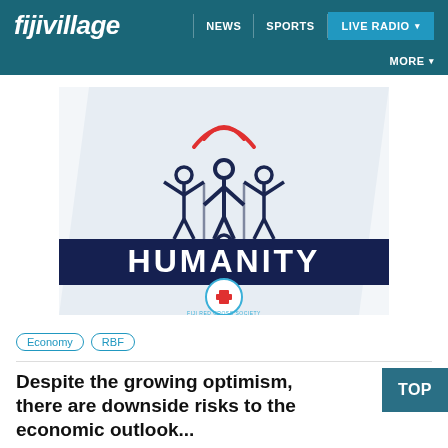fijivillage — NEWS | SPORTS | LIVE RADIO ▾ | MORE ▾
[Figure (illustration): Fiji Red Cross Society Humanity podcast/program logo. Stylized figures with arms raised above a wheelchair user icon on a light blue/grey diagonal background, with a dark navy banner reading HUMANITY and a Fiji Red Cross Society circular badge below.]
Economy
RBF
Despite the growing optimism, there are downside risks to the economic outlook... RBF